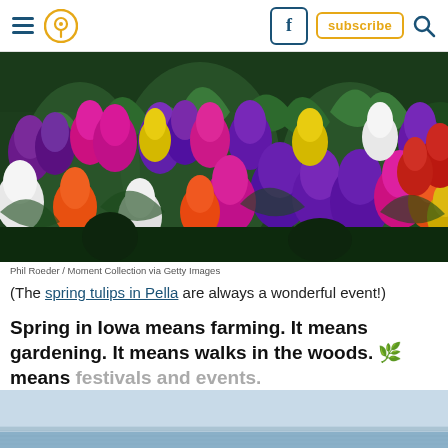Navigation bar with hamburger menu, location pin icon, Facebook icon, subscribe button, and search icon
[Figure (photo): A field of colorful spring tulips in various colors including purple, pink, white, orange, red, and yellow with green stems and leaves]
Phil Roeder / Moment Collection via Getty Images
(The spring tulips in Pella are always a wonderful event!)
Spring in Iowa means farming. It means gardening. It means walks in the woods. 🌿 means festivals and events.
[Figure (photo): Partial view of a serene lake or ocean scene with a light blue sky]